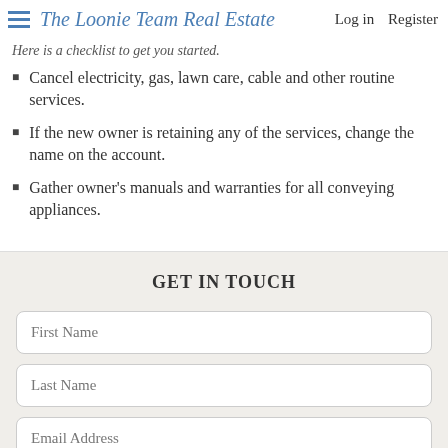The Loonie Team Real Estate   Log in   Register
Here is a checklist to get you started.
Cancel electricity, gas, lawn care, cable and other routine services.
If the new owner is retaining any of the services, change the name on the account.
Gather owner's manuals and warranties for all conveying appliances.
GET IN TOUCH
First Name
Last Name
Email Address